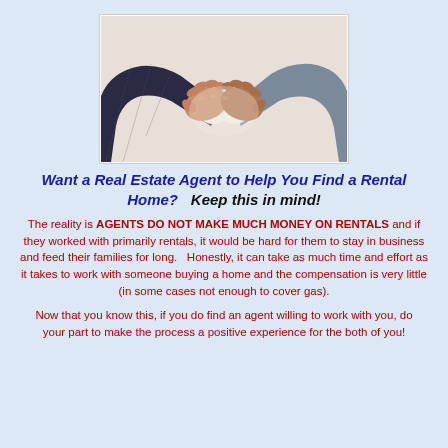[Figure (photo): Two people shaking hands, one in a dark pinstripe suit and one in a grey suit, against a white background.]
Want a Real Estate Agent to Help You Find a Rental Home?  Keep this in mind!
The reality is AGENTS DO NOT MAKE MUCH MONEY ON RENTALS and if they worked with primarily rentals, it would be hard for them to stay in business and feed their families for long.   Honestly, it can take as much time and effort as it takes to work with someone buying a home and the compensation is very little (in some cases not enough to cover gas).
Now that you know this, if you do find an agent willing to work with you, do your part to make the process a positive experience for the both of you!